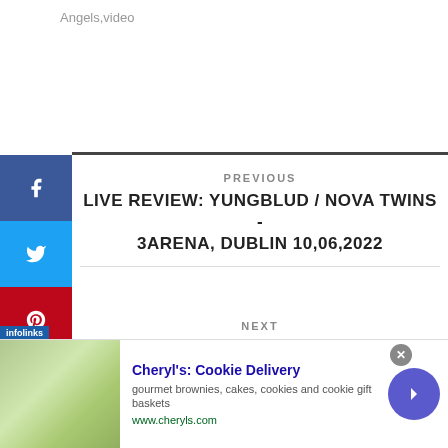Angels,video
PREVIOUS
LIVE REVIEW: YUNGBLUD / NOVA TWINS - 3ARENA, DUBLIN 10,06,2022
NEXT
LIVE REVIEW: PLASTIC GLASS / NO YOU - INDEPENDENT, SUNDERLAND 10.06.2022
[Figure (other): Advertisement banner for Cheryl's Cookie Delivery showing food image, text and arrow button]